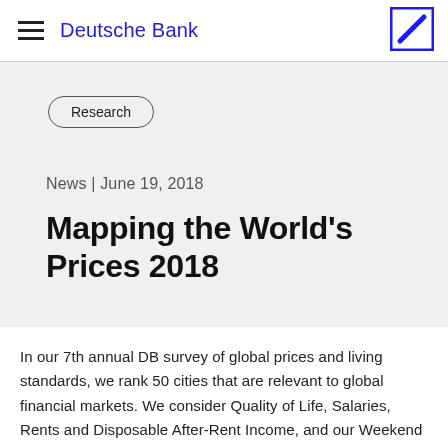Deutsche Bank
Research
News | June 19, 2018
Mapping the World's Prices 2018
In our 7th annual DB survey of global prices and living standards, we rank 50 cities that are relevant to global financial markets. We consider Quality of Life, Salaries, Rents and Disposable After-Rent Income, and our Weekend Getaway, Cheap Date and Bad Habits indices. We then look at the individual series of the prices